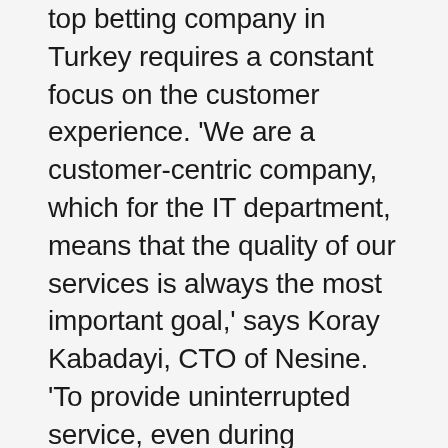top betting company in Turkey requires a constant focus on the customer experience. ‘We are a customer-centric company, which for the IT department, means that the quality of our services is always the most important goal,’ says Koray Kabadayi, CTO of Nesine. ‘To provide uninterrupted service, even during tremendous bursts of traffic, we must identify and fix any issues before they impact our customers’ experience with our platform. That’s why we rely on New Relic One for visibility and insight into performance and the experience.’